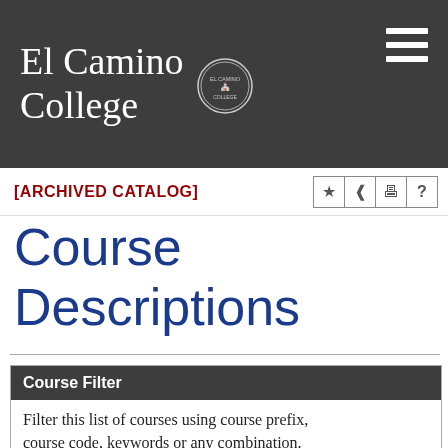El Camino College
[ARCHIVED CATALOG]
Course Descriptions
| Course Filter |
| --- |
| Filter this list of courses using course prefix, course code, keywords or any combination. |
| Choose Course Prefix |